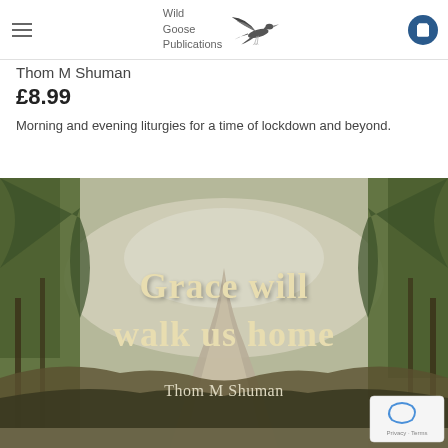Wild Goose Publications
Thom M Shuman
£8.99
Morning and evening liturgies for a time of lockdown and beyond.
[Figure (photo): Book cover for 'Grace will walk us home' by Thom M Shuman. Shows a misty woodland path with trees on either side. Large cream/tan text overlay reads 'Grace will walk us home' and below 'Thom M Shuman'.]